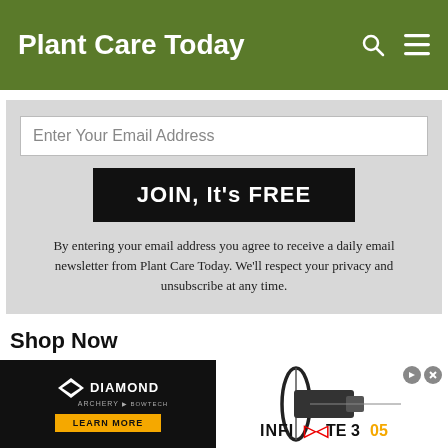Plant Care Today
Enter Your Email Address
JOIN, It's FREE
By entering your email address you agree to receive a daily email newsletter from Plant Care Today. We'll respect your privacy and unsubscribe at any time.
Shop Now
[Figure (photo): Product image: FrogAPE scratch coating tape packaging]
[Figure (photo): Book cover: Gardening Everything]
[Figure (photo): Diamond Archery advertisement banner with Infinite 305 bow and Learn More button]